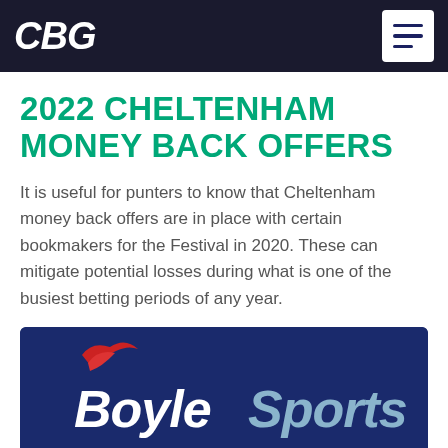CBG
2022 CHELTENHAM MONEY BACK OFFERS
It is useful for punters to know that Cheltenham money back offers are in place with certain bookmakers for the Festival in 2020. These can mitigate potential losses during what is one of the busiest betting periods of any year.
[Figure (logo): BoyleSports logo on dark navy blue background with a red hat/cap graphic above the text]